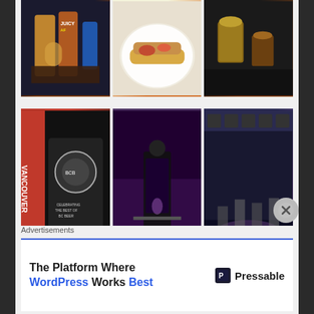[Figure (photo): Three photos in a row: drinks/bottles with 'Juicy AF' label, a hot dog on a white plate, and beverages/mugs on a dark surface]
[Figure (photo): Three photos in a row: Vancouver BCBeer banner/sign in dark venue, person speaking at a podium/microphone in purple light, crowd in purple-lit venue]
[Figure (photo): Three partially visible photos in a row at bottom: trophies/awards display, bar area with pink lighting, and a sign reading 'Best Panda']
Advertisements
[Figure (screenshot): Pressable advertisement banner: 'The Platform Where WordPress Works Best' with Pressable logo]